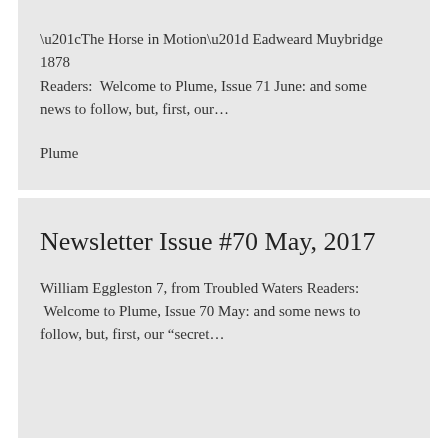“The Horse in Motion” Eadweard Muybridge 1878 Readers:  Welcome to Plume, Issue 71 June: and some news to follow, but, first, our…
Plume
Newsletter Issue #70 May, 2017
William Eggleston 7, from Troubled Waters Readers:  Welcome to Plume, Issue 70 May: and some news to follow, but, first, our “secret…